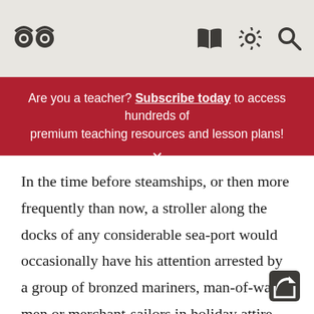Owl logo | Book icon | Settings icon | Search icon
Are you a teacher? Subscribe today to access hundreds of premium teaching resources and lesson plans! ×
In the time before steamships, or then more frequently than now, a stroller along the docks of any considerable sea-port would occasionally have his attention arrested by a group of bronzed mariners, man-of-war's men or merchant-sailors in holiday attire ashore on liberty. In certain instances they would flank, or, like a body-guard quite surround some superior figure of their own class, moving along with them like Aldebaran among the lesser lights of his constellation. That signal object